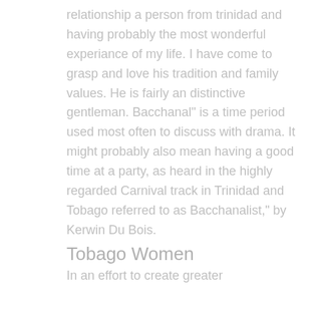relationship a person from trinidad and having probably the most wonderful experiance of my life. I have come to grasp and love his tradition and family values. He is fairly an distinctive gentleman. Bacchanal" is a time period used most often to discuss with drama. It might probably also mean having a good time at a party, as heard in the highly regarded Carnival track in Trinidad and Tobago referred to as Bacchanalist," by Kerwin Du Bois.
Tobago Women
In an effort to create greater